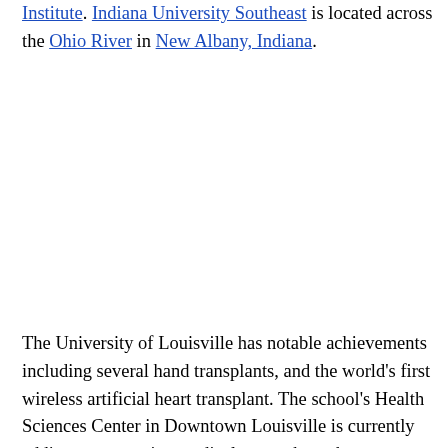Institute. Indiana University Southeast is located across the Ohio River in New Albany, Indiana.
The University of Louisville has notable achievements including several hand transplants, and the world's first wireless artificial heart transplant. The school's Health Sciences Center in Downtown Louisville is currently adding an expansive medical research market